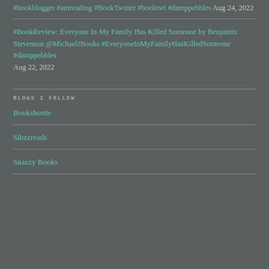#bookblogger #amreading #BookTwitter #booktwt #damppebbles Aug 24, 2022
#BookReview: Everyone In My Family Has Killed Someone by Benjamin Stevenson @MichaelJBooks #EveryoneInMyFamilyHasKilledSomeone #damppebbles Aug 22, 2022
BLOGS I FOLLOW
Bookshortie
Sibzzreads
Snazzy Books